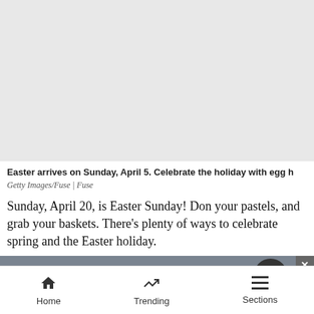[Figure (photo): Large placeholder image area, light gray background, representing an Easter-themed photo]
Easter arrives on Sunday, April 5. Celebrate the holiday with egg h
Getty Images/Fuse | Fuse
Sunday, April 20, is Easter Sunday! Don your pastels, and grab your baskets. There’s plenty of ways to celebrate spring and the Easter holiday.
10,000 EGGS AT GARDENS
Home   Trending   Sections